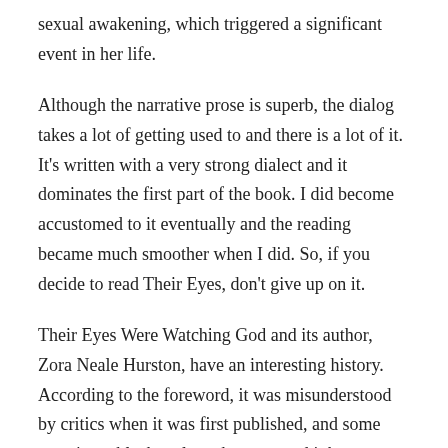sexual awakening, which triggered a significant event in her life.
Although the narrative prose is superb, the dialog takes a lot of getting used to and there is a lot of it. It's written with a very strong dialect and it dominates the first part of the book. I did become accustomed to it eventually and the reading became much smoother when I did. So, if you decide to read Their Eyes, don't give up on it.
Their Eyes Were Watching God and its author, Zora Neale Hurston, have an interesting history. According to the foreword, it was misunderstood by critics when it was first published, and some prominent black male authors panned it because they didn't think it focused enough on the history as a lens for black...